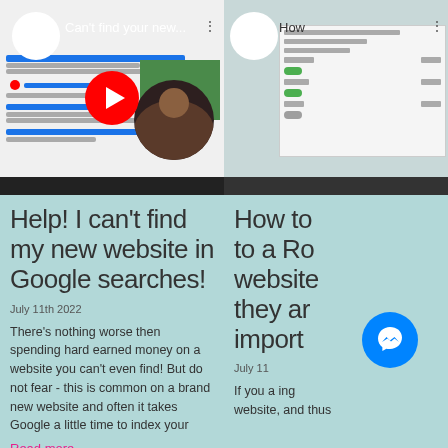[Figure (screenshot): YouTube video thumbnail: 'Can't find your new...' with search results screen and presenter face circle]
[Figure (screenshot): YouTube video thumbnail: 'How...' partial title with settings/dashboard screen]
Help! I can't find my new website in Google searches!
July 11th 2022
There's nothing worse then spending hard earned money on a website you can't even find! But do not fear - this is common on a brand new website and often it takes Google a little time to index your
Read more
How to to a Ro website they ar import
July 11
If you a ing website, and thus